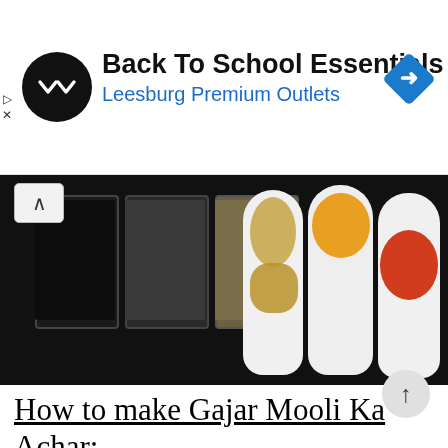[Figure (screenshot): Advertisement banner for Back To School Essentials at Leesburg Premium Outlets, with circular black logo with double-arrow symbol and blue navigation arrow icon on the right.]
[Figure (photo): Close-up photo of various spices including black seeds in glass containers, sesame seeds, coriander seeds on white spoons, turmeric powder and red chili powder, all on a dark background.]
How to make Gajar Mooli Ka Achar:
Step1: Wash, peel, and cut radish (mooli) in slices or lengthwise. Then spread them out on a clean kitchen towel to dry completely. There should be no moisture at all or the pickle will spoil. Do the same with carrots (gajar). If you want to also use